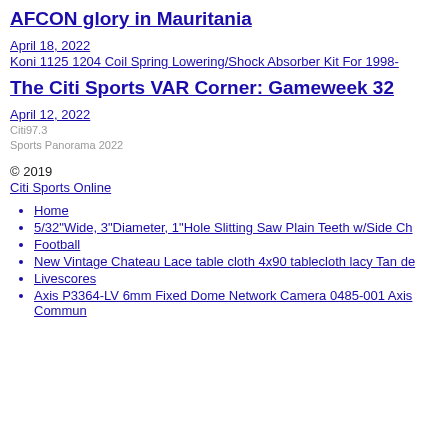AFCON glory in Mauritania
April 18, 2022
Koni 1125 1204 Coil Spring Lowering/Shock Absorber Kit For 1998-
The Citi Sports VAR Corner: Gameweek 32
April 12, 2022
Citi97.3
Sports Panorama 2022
© 2019
Citi Sports Online
Home
5/32"Wide, 3"Diameter, 1"Hole Slitting Saw Plain Teeth w/Side Ch
Football
New Vintage Chateau Lace table cloth 4x90 tablecloth lacy Tan de
Livescores
Axis P3364-LV 6mm Fixed Dome Network Camera 0485-001 Axis Commun